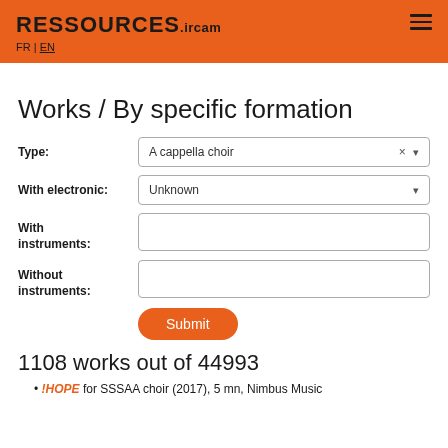RESSOURCES.IRCAM FR | EN
Works / By specific formation
Type: A cappella choir
With electronic: Unknown
With instruments:
Without instruments:
Submit
1108 works out of 44993
!HOPE for SSSAA choir (2017), 5 mn, Nimbus Music